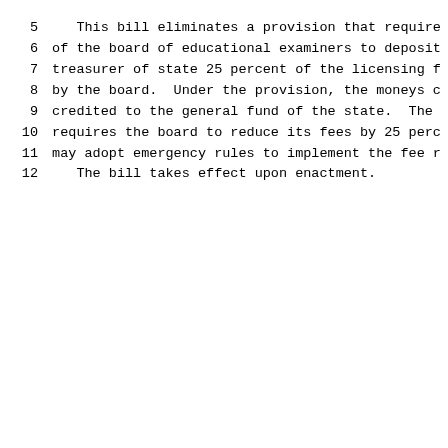5    This bill eliminates a provision that require
6 of the board of educational examiners to deposit
7 treasurer of state 25 percent of the licensing f
8 by the board.  Under the provision, the moneys c
9 credited to the general fund of the state.  The
10 requires the board to reduce its fees by 25 perc
11 may adopt emergency rules to implement the fee r
12    The bill takes effect upon enactment.